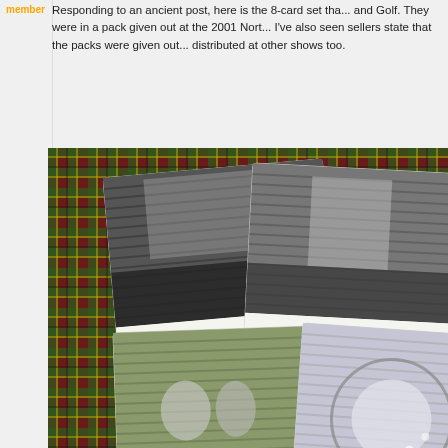member
Responding to an ancient post, here is the 8-card set that features the Mini and Golf. They were in a pack given out at the 2001 Nort... I've also seen sellers state that the packs were given out... distributed at other shows too.
[Figure (photo): Collection of promotional cards laid out on a tartan/plaid fabric background. Two visible cards show: one labeled 'Spread the Joy' featuring a person looking at a car, another labeled 'Coope...' featuring a person with a car. Two more cards partially visible at bottom showing people and a circular design.]